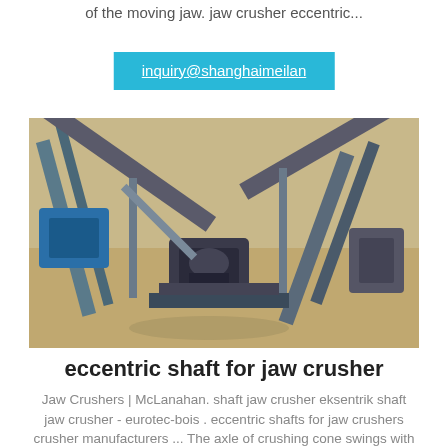of the moving jaw. jaw crusher eccentric...
inquiry@shanghaimeilan
[Figure (photo): Aerial view of an industrial jaw crusher plant with conveyor belts and heavy machinery on sandy terrain]
eccentric shaft for jaw crusher
Jaw Crushers | McLanahan. shaft jaw crusher eksentrik shaft jaw crusher - eurotec-bois . eccentric shafts for jaw crushers crusher manufacturers ... The axle of crushing cone swings with the force of ecccentric shaft shell so that the. jaw crusher machine .Jaw Crushers | McLanahanJaw Crushers. Jaw Crushers are used to reduce..